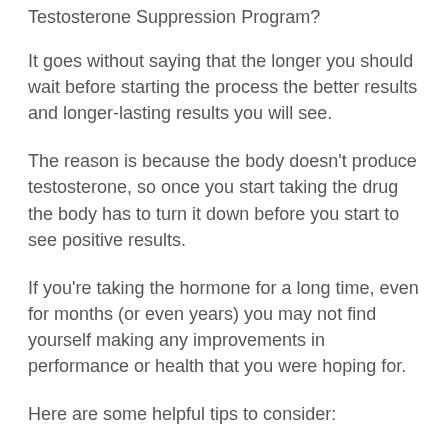Testosterone Suppression Program?
It goes without saying that the longer you should wait before starting the process the better results and longer-lasting results you will see.
The reason is because the body doesn't produce testosterone, so once you start taking the drug the body has to turn it down before you start to see positive results.
If you're taking the hormone for a long time, even for months (or even years) you may not find yourself making any improvements in performance or health that you were hoping for.
Here are some helpful tips to consider:
If you think you have lower testosterone